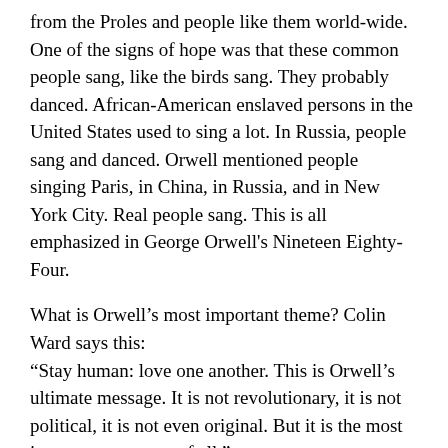from the Proles and people like them world-wide. One of the signs of hope was that these common people sang, like the birds sang. They probably danced. African-American enslaved persons in the United States used to sing a lot. In Russia, people sang and danced. Orwell mentioned people singing Paris, in China, in Russia, and in New York City. Real people sang. This is all emphasized in George Orwell's Nineteen Eighty-Four.
What is Orwell's most important theme? Colin Ward says this: “Stay human: love one another. This is Orwell's ultimate message. It is not revolutionary, it is not political, it is not even original. But it is the most important message of all.”
We can call this George Orwell's 10 Commandments, or George Orwell's version of the golden rule. “Stay human: love one another.” “the most important message of all”